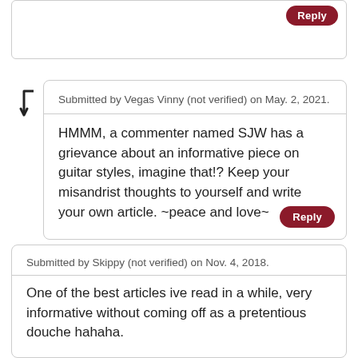Submitted by Vegas Vinny (not verified) on May. 2, 2021.
HMMM, a commenter named SJW has a grievance about an informative piece on guitar styles, imagine that!? Keep your misandrist thoughts to yourself and write your own article. ~peace and love~
Submitted by Skippy (not verified) on Nov. 4, 2018.
One of the best articles ive read in a while, very informative without coming off as a pretentious douche hahaha.